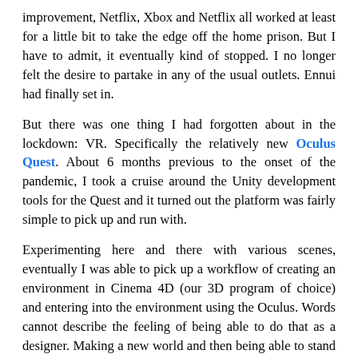improvement, Netflix, Xbox and Netflix all worked at least for a little bit to take the edge off the home prison. But I have to admit, it eventually kind of stopped. I no longer felt the desire to partake in any of the usual outlets. Ennui had finally set in.
But there was one thing I had forgotten about in the lockdown: VR. Specifically the relatively new Oculus Quest. About 6 months previous to the onset of the pandemic, I took a cruise around the Unity development tools for the Quest and it turned out the platform was fairly simple to pick up and run with.
Experimenting here and there with various scenes, eventually I was able to pick up a workflow of creating an environment in Cinema 4D (our 3D program of choice) and entering into the environment using the Oculus. Words cannot describe the feeling of being able to do that as a designer. Making a new world and then being able to stand in it, walk around in it, look around in it might just be my personal most thrilling moment of creating in the digital space.
Eventually when we all got exceedingly busy at the studio, the Oculus made it's way on over to the shelf to chill for a bit.